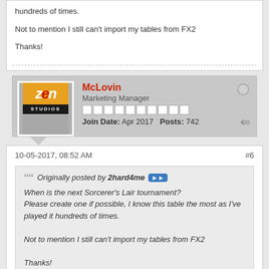hundreds of times.
Not to mention I still can't import my tables from FX2
Thanks!
McLovin
Marketing Manager
Join Date: Apr 2017   Posts: 742
10-05-2017, 08:52 AM
#6
Originally posted by 2hard4me
When is the next Sorcerer's Lair tournament?
Please create one if possible, I know this table the most as I've played it hundreds of times.

Not to mention I still can't import my tables from FX2

Thanks!
Hello,
which platform are you on? Can you send us a mail to